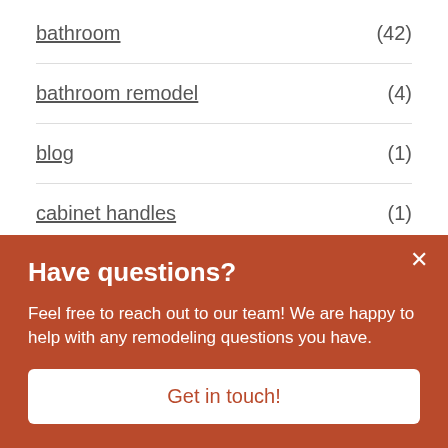bathroom (42)
bathroom remodel (4)
blog (1)
cabinet handles (1)
cabinetry (7)
community (2)
Have questions?
Feel free to reach out to our team! We are happy to help with any remodeling questions you have.
Get in touch!